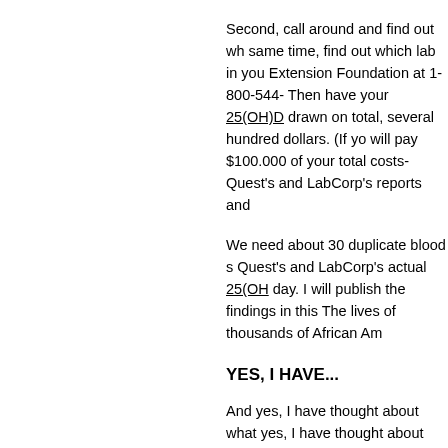Second, call around and find out wh... same time, find out which lab in you... Extension Foundation at 1-800-544-... Then have your 25(OH)D drawn on... total, several hundred dollars. (If yo... will pay $100.000 of your total costs... Quest's and LabCorp's reports and...
We need about 30 duplicate blood s... Quest's and LabCorp's actual 25(OH... day. I will publish the findings in this... The lives of thousands of African Am...
YES, I HAVE...
And yes, I have thought about what... yes, I have thought about what it co... have thought about what it could do... among Blacks, and yes, I have writt... contacted the Obama administration... pleas.
Remember, we are a non-profit and...